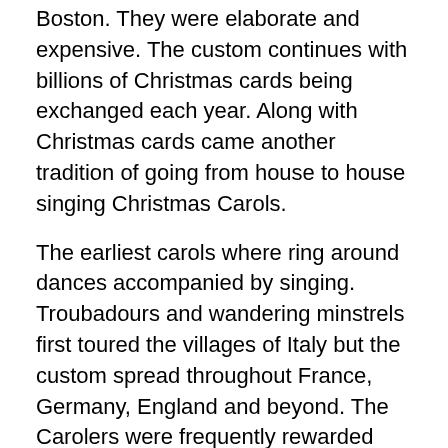Boston. They were elaborate and expensive. The custom continues with billions of Christmas cards being exchanged each year. Along with Christmas cards came another tradition of going from house to house singing Christmas Carols.
The earliest carols where ring around dances accompanied by singing. Troubadours and wandering minstrels first toured the villages of Italy but the custom spread throughout France, Germany, England and beyond. The Carolers were frequently rewarded with food and drink.
But early Carols were sung as part of the church liturgy to illustrate the birth story of Jesus to a people who did not read the bible and who learned the book of Luke and the nativity story through singing.
During the Puritan reign in the 17th century the tradition of caroling was not allowed but by the 19th Century and the